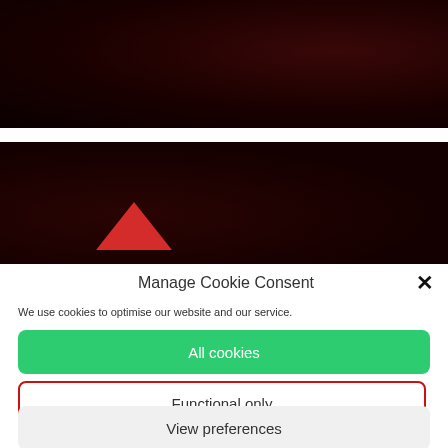[Figure (photo): Dark red/maroon abstract background image, top portion of page]
[Figure (photo): Dark red/maroon abstract background image with red triangle/play button shape visible at bottom center]
Manage Cookie Consent
We use cookies to optimise our website and our service.
All cookies
Functional only
View preferences
Cookies EN   Privacy policy